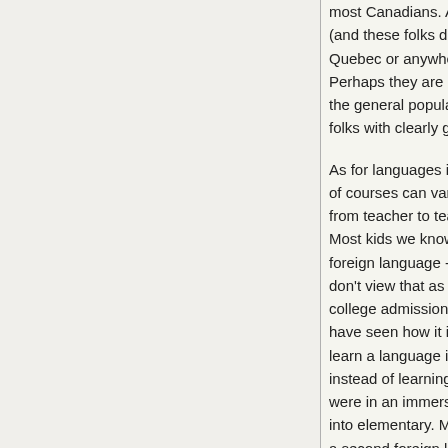most Canadians. And these folks don't come from Quebec or anywhere near it. Perhaps they are not representative of the general population - they are folks with clearly gifted language abilities.

As for languages in schools, quality of courses can vary greatly from teacher to teacher. Most kids we know take one foreign language - the others don't view that as an option but as a college admission requirement. I have seen how it is more difficult to learn a language in middle/high school instead of learning at a young age if were in an immersion school going into elementary. My older kids took a second foreign language in college. They are proficient at the second language, but not fluent.

Eldest took the AP in both languages and has college credit for them. She took the college's online placement test in both and placed for 400 level courses (they were starting with a 300 level course that semester). She thought the immersion language w...